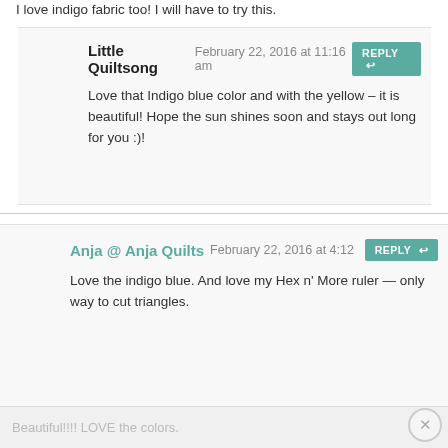I love indigo fabric too! I will have to try this.
Little Quiltsong February 22, 2016 at 11:16 am
Love that Indigo blue color and with the yellow – it is beautiful! Hope the sun shines soon and stays out long for you :)!
Anja @ Anja Quilts February 22, 2016 at 4:12
Love the indigo blue. And love my Hex n' More ruler — only way to cut triangles.
Mary February 22, 2016 at 4:35 pm #
Beautiful!!!! LOVE the colors.